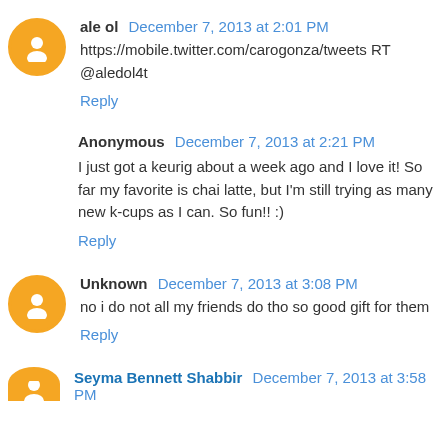ale ol  December 7, 2013 at 2:01 PM
https://mobile.twitter.com/carogonza/tweets RT @aledol4t
Reply
Anonymous  December 7, 2013 at 2:21 PM
I just got a keurig about a week ago and I love it! So far my favorite is chai latte, but I'm still trying as many new k-cups as I can. So fun!! :)
Reply
Unknown  December 7, 2013 at 3:08 PM
no i do not all my friends do tho so good gift for them
Reply
Seyma Bennett Shabbir  December 7, 2013 at 3:58 PM